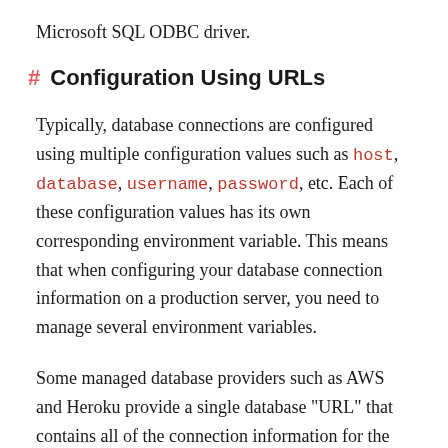Microsoft SQL ODBC driver.
Configuration Using URLs
Typically, database connections are configured using multiple configuration values such as host, database, username, password, etc. Each of these configuration values has its own corresponding environment variable. This means that when configuring your database connection information on a production server, you need to manage several environment variables.
Some managed database providers such as AWS and Heroku provide a single database "URL" that contains all of the connection information for the database in a single string.